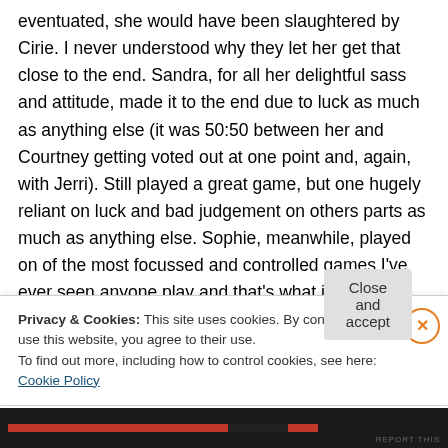eventuated, she would have been slaughtered by Cirie.  I never understood why they let her get that close to the end.  Sandra, for all her delightful sass and attitude, made it to the end due to luck as much as anything else (it was 50:50 between her and Courtney getting voted out at one point and, again, with Jerri).  Still played a great game, but one hugely reliant on luck and bad judgement on others parts as much as anything else.  Sophie, meanwhile, played on of the most focussed and controlled games I've ever seen anyone play and that's what is so impressive.  She made it to the end with deliberate choices and
Privacy & Cookies: This site uses cookies. By continuing to use this website, you agree to their use.
To find out more, including how to control cookies, see here: Cookie Policy
Close and accept